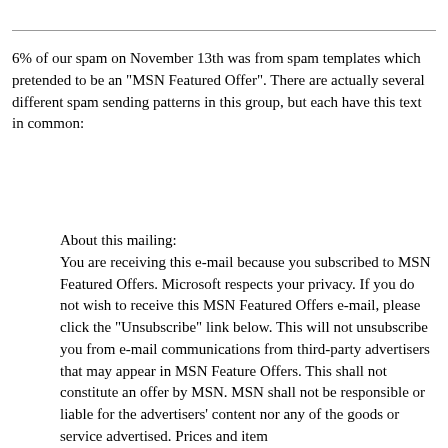6% of our spam on November 13th was from spam templates which pretended to be an "MSN Featured Offer". There are actually several different spam sending patterns in this group, but each have this text in common:
About this mailing:
You are receiving this e-mail because you subscribed to MSN Featured Offers. Microsoft respects your privacy. If you do not wish to receive this MSN Featured Offers e-mail, please click the "Unsubscribe" link below. This will not unsubscribe you from e-mail communications from third-party advertisers that may appear in MSN Feature Offers. This shall not constitute an offer by MSN. MSN shall not be responsible or liable for the advertisers' content nor any of the goods or service advertised. Prices and item